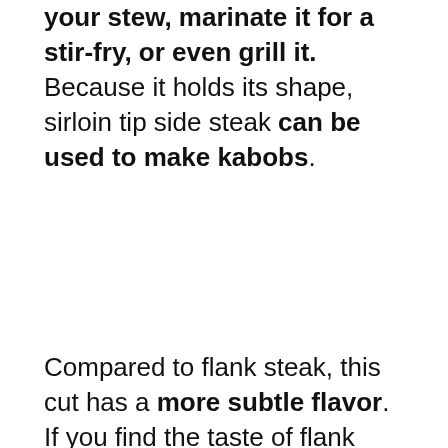your stew, marinate it for a stir-fry, or even grill it. Because it holds its shape, sirloin tip side steak can be used to make kabobs.
Compared to flank steak, this cut has a more subtle flavor. If you find the taste of flank taste and other substitutes too overpowering, sirloin tip side steak might work for you.